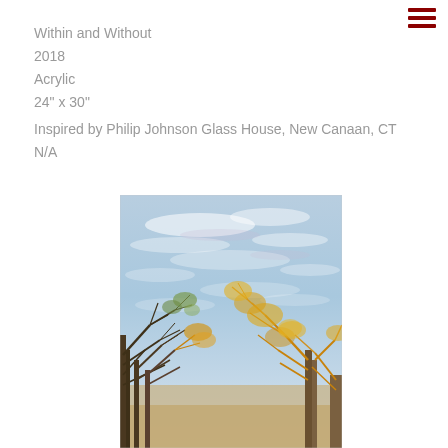Within and Without
2018
Acrylic
24" x 30"
Inspired by Philip Johnson Glass House, New Canaan, CT
N/A
[Figure (photo): Acrylic painting titled 'Within and Without' (2018). A landscape view looking upward through bare winter trees with warm golden-orange and green tones at the bottom, against a wide, pale blue sky with wispy white clouds. The composition shows tree branches framing the sky from left and right sides.]